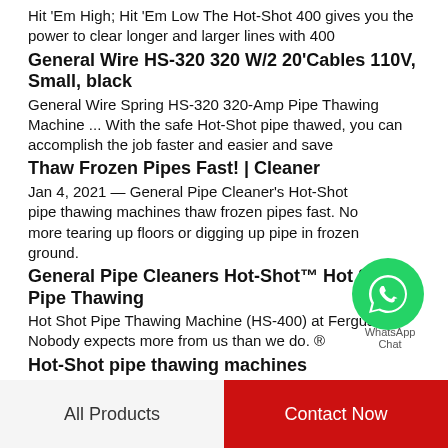Hit 'Em High; Hit 'Em Low The Hot-Shot 400 gives you the power to clear longer and larger lines with 400
General Wire HS-320 320 W/2 20'Cables 110V, Small, black
General Wire Spring HS-320 320-Amp Pipe Thawing Machine ... With the safe Hot-Shot pipe thawed, you can accomplish the job faster and easier and save
Thaw Frozen Pipes Fast! | Cleaner
Jan 4, 2021 — General Pipe Cleaner's Hot-Shot pipe thawing machines thaw frozen pipes fast. No more tearing up floors or digging up pipe in frozen ground.
[Figure (logo): WhatsApp green circle logo with phone icon and WhatsApp label]
General Pipe Cleaners Hot-Shot™ Hot Shot Pipe Thawing
Hot Shot Pipe Thawing Machine (HS-400) at Ferguson. Nobody expects more from us than we do. ®
Hot-Shot pipe thawing machines
After the clamps are properly connected the Hot Shot can
All Products    Contact Now